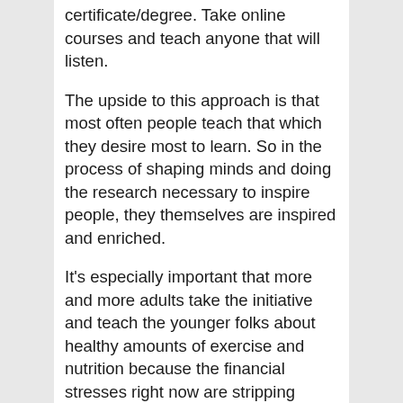certificate/degree. Take online courses and teach anyone that will listen.
The upside to this approach is that most often people teach that which they desire most to learn. So in the process of shaping minds and doing the research necessary to inspire people, they themselves are inspired and enriched.
It's especially important that more and more adults take the initiative and teach the younger folks about healthy amounts of exercise and nutrition because the financial stresses right now are stripping these programs from schools left and right. It's up to all the silent fitness role models out there to stand up to the plate and steer the next generations in a better direction. Get started today!
[Figure (logo): Small circular logo or icon at bottom center of page]